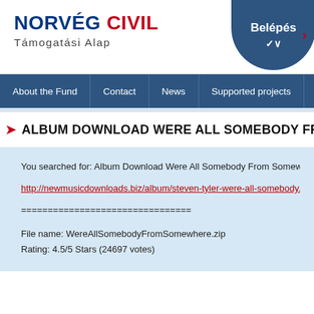NORVÉG CIVIL Támogatási Alap
Belépés
About the Fund | Contact | News | Supported projects | Application
ALBUM DOWNLOAD WERE ALL SOMEBODY FROM SO
You searched for: Album Download Were All Somebody From Somew...
http://newmusicdownloads.biz/album/steven-tyler-were-all-somebody...
================================
File name: WereAllSomebodyFromSomewhere.zip
Rating: 4.5/5 Stars (24697 votes)